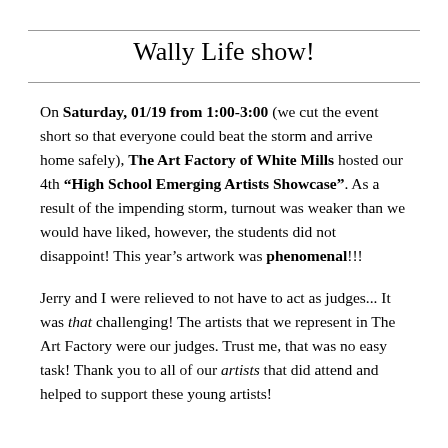Wally Life show!
On Saturday, 01/19 from 1:00-3:00 (we cut the event short so that everyone could beat the storm and arrive home safely), The Art Factory of White Mills hosted our 4th “High School Emerging Artists Showcase”.  As a result of the impending storm, turnout was weaker than we would have liked, however, the students did not disappoint!  This year’s artwork was phenomenal!!!
Jerry and I were relieved to not have to act as judges...  It was that challenging!  The artists that we represent in The Art Factory were our judges.  Trust me, that was no easy task!  Thank you to all of our artists that did attend and helped to support these young artists!